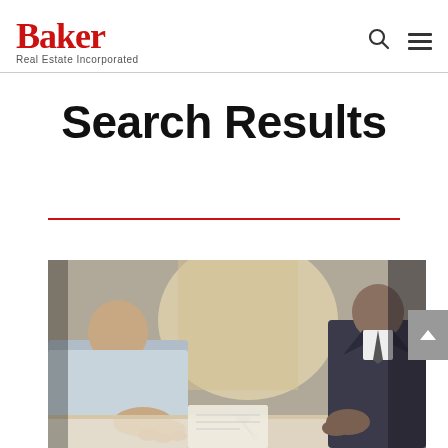Baker Real Estate Incorporated
Search Results
[Figure (photo): Two people sitting across a table, appearing to be in a real estate or business meeting, one handing over keys to the other.]